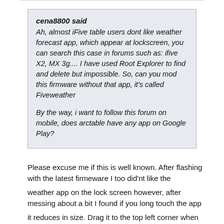cena8800 said
Ah, almost iFive table users dont like weather forecast app, which appear at lockscreen, you can search this case in forums such as: ifive X2, MX 3g.... I have used Root Explorer to find and delete but impossible. So, can you mod this firmware without that app, it's called Fiveweather

By the way, i want to follow this forum on mobile, does arctable have any app on Google Play?
Please excuse me if this is well known. After flashing with the latest firmeware I too did'nt like the
weather app on the lock screen however, after messing about a bit I found if you long touch the app
it reduces in size. Drag it to the top left corner when it turns red let go. In its place on your screen you